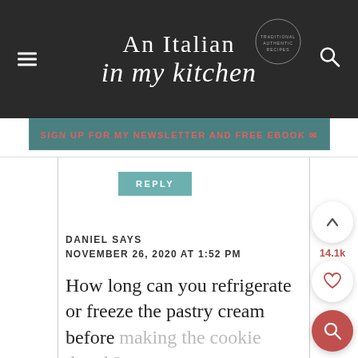[Figure (logo): An Italian in my Kitchen website header logo on dark background with hamburger menu icon on left and search icon on right]
SIGN UP FOR MY NEWSLETTER AND FREE EBOOK ✉
REPLY
DANIEL SAYS
NOVEMBER 26, 2020 AT 1:52 PM
How long can you refrigerate or freeze the pastry cream before making the cookie dough?